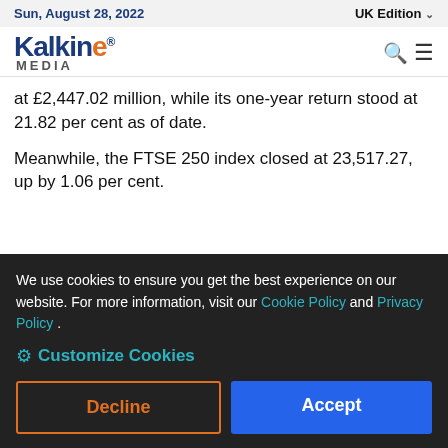Sun, August 28, 2022 | UK Edition
[Figure (logo): Kalkine Media logo with orange 'e' and blue 'Kalkine' text, 'MEDIA' subtitle]
at £2,447.02 million, while its one-year return stood at 21.82 per cent as of date.
Meanwhile, the FTSE 250 index closed at 23,517.27, up by 1.06 per cent.
We use cookies to ensure you get the best experience on our website. For more information, visit our Cookie Policy and Privacy Policy .
⚙ Customize Cookies
Decline
Accept